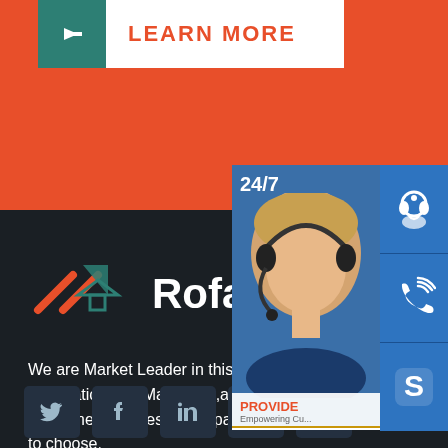[Figure (screenshot): Orange top section with white Learn More button with teal arrow box]
LEARN MORE
[Figure (logo): Rofalco company logo with stylized roofline icon]
We are Market Leader in this City Fabrication and Machining,and We have some metal processing capacity for you to choose.
[Figure (infographic): 24/7 customer support panel with person wearing headset, PROVIDE Empowering Customers text, online live button, and blue side icons for customer support, phone, and Skype]
[Figure (other): Social media icon buttons: Twitter, Facebook, LinkedIn, Google+, Pinterest]